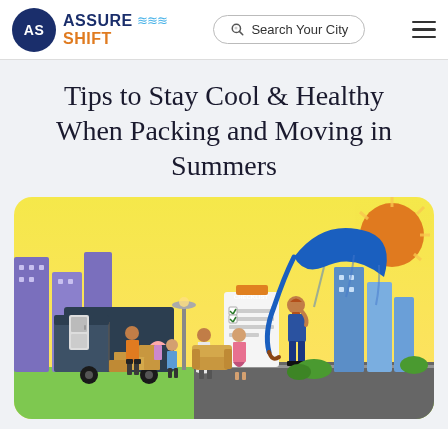AssureShift | Search Your City
Tips to Stay Cool & Healthy When Packing and Moving in Summers
[Figure (illustration): Illustration of people packing boxes and loading a moving truck in summer heat, with a checklist clipboard, a man holding a blue umbrella, a bright sun, and city buildings in background. Warm yellow and blue color scheme.]